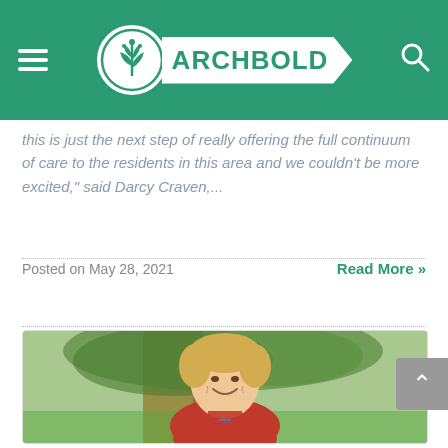ARCHBOLD
this is just the next step of really offering the full continuum of care to the residents in this area and we couldn't be more excited," said Darcy Craven,...
Posted on May 28, 2021
Read More »
[Figure (photo): Smiling woman with short blonde hair wearing red scrubs and a badge, standing outdoors in front of a large tree with green grass background.]